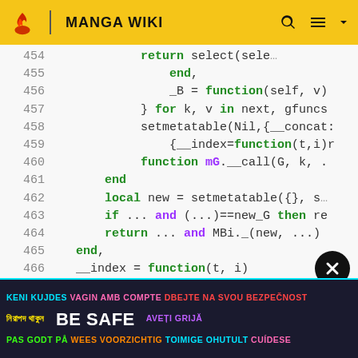MANGA WIKI
[Figure (screenshot): Code editor showing Lua code lines 454-469 with syntax highlighting on dark/light background]
KENI KUJDES VAGIN AMB COMPTE DBEJTE NA SVOU BEZPEČNOST নিরাপদ থাকুন BE SAFE AVEȚI GRIJĂ PAS GODT PÅ WEES VOORZICHTIG TOIMIGE OHUTULT CUÍDESE